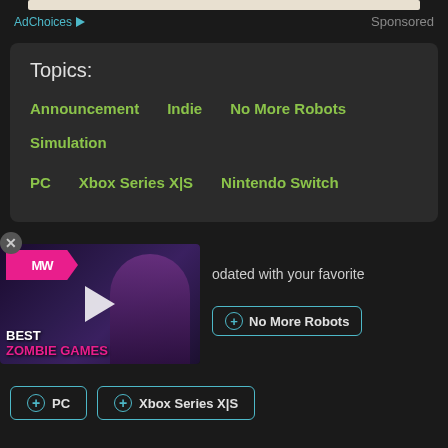[Figure (screenshot): Ad placeholder image at top, cream/beige colored strip]
AdChoices ▶   Sponsored
Topics:
Announcement
Indie
No More Robots
Simulation
PC
Xbox Series X|S
Nintendo Switch
[Figure (screenshot): Video thumbnail showing 'BEST ZOMBIE GAMES' with MW logo and a character from The Last of Us, with a play button overlay]
odated with your favorite
+ No More Robots
+ PC
+ Xbox Series X|S